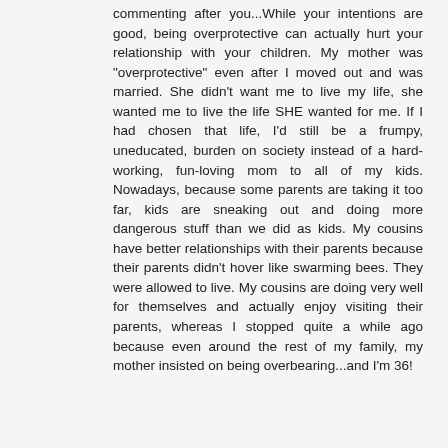commenting after you...While your intentions are good, being overprotective can actually hurt your relationship with your children. My mother was "overprotective" even after I moved out and was married. She didn't want me to live my life, she wanted me to live the life SHE wanted for me. If I had chosen that life, I'd still be a frumpy, uneducated, burden on society instead of a hard-working, fun-loving mom to all of my kids. Nowadays, because some parents are taking it too far, kids are sneaking out and doing more dangerous stuff than we did as kids. My cousins have better relationships with their parents because their parents didn't hover like swarming bees. They were allowed to live. My cousins are doing very well for themselves and actually enjoy visiting their parents, whereas I stopped quite a while ago because even around the rest of my family, my mother insisted on being overbearing...and I'm 36!